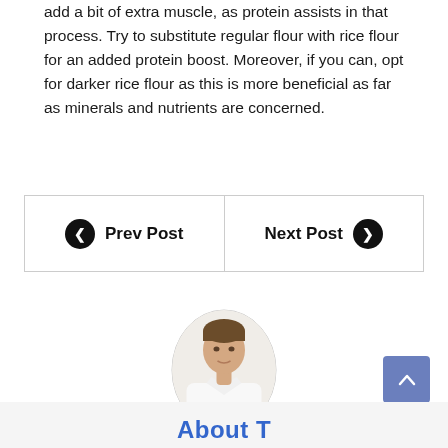add a bit of extra muscle, as protein assists in that process. Try to substitute regular flour with rice flour for an added protein boost. Moreover, if you can, opt for darker rice flour as this is more beneficial as far as minerals and nutrients are concerned.
[Figure (other): Navigation bar with Prev Post button on left and Next Post button on right, separated by a vertical line, all within a bordered rectangle]
[Figure (photo): Oval-framed portrait photo of a man in a white shirt against a light background]
[Figure (other): Blue scroll-to-top button with an upward chevron arrow in the bottom right corner]
About T...